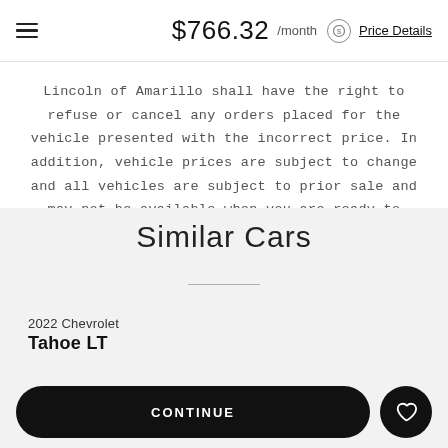$766.32 /month Price Details
Lincoln of Amarillo shall have the right to refuse or cancel any orders placed for the vehicle presented with the incorrect price. In addition, vehicle prices are subject to change and all vehicles are subject to prior sale and may not be available when you are ready to purchase.
Similar Cars
2022 Chevrolet
Tahoe LT
CONTINUE